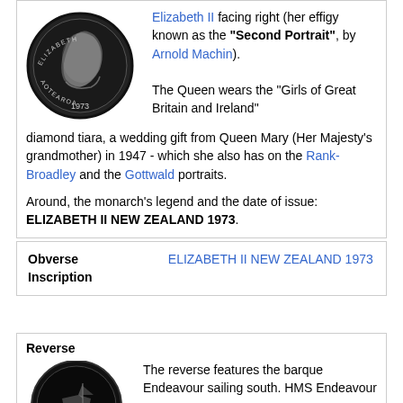[Figure (photo): Black and white coin showing Queen Elizabeth II portrait facing right, dated 1973, with text ELIZABETH II around the edge]
Elizabeth II facing right (her effigy known as the "Second Portrait", by Arnold Machin). The Queen wears the "Girls of Great Britain and Ireland" diamond tiara, a wedding gift from Queen Mary (Her Majesty's grandmother) in 1947 - which she also has on the Rank-Broadley and the Gottwald portraits.
Around, the monarch's legend and the date of issue: ELIZABETH II NEW ZEALAND 1973.
| Obverse Inscription | ELIZABETH II NEW ZEALAND 1973 |
| --- | --- |
Reverse
[Figure (photo): Black coin showing reverse side with 50 denomination and barque Endeavour sailing]
The reverse features the barque Endeavour sailing south. HMS Endeavour was